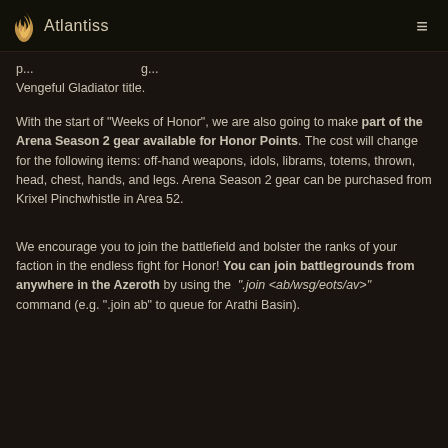Atlantiss
p...g...Vengeful Gladiator title.
With the start of "Weeks of Honor", we are also going to make part of the Arena Season 2 gear available for Honor Points. The cost will change for the following items: off-hand weapons, idols, librams, totems, thrown, head, chest, hands, and legs. Arena Season 2 gear can be purchased from Krixel Pinchwhistle in Area 52.
We encourage you to join the battlefield and bolster the ranks of your faction in the endless fight for Honor! You can join battlegrounds from anywhere in the Azeroth by using the ".join <ab/wsg/eots/av>" command (e.g. ".join ab" to queue for Arathi Basin).